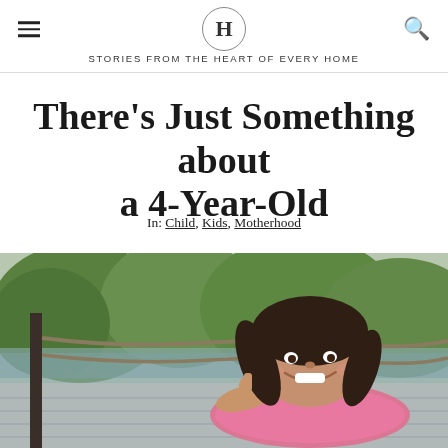H — STORIES FROM THE HEART OF EVERY HOME
There's Just Something about a 4-Year-Old
In: Child, Kids, Motherhood
[Figure (photo): A smiling young girl with brown hair and bangs lying on a wooden dock, resting her chin on her hand, with green trees and water in the background.]